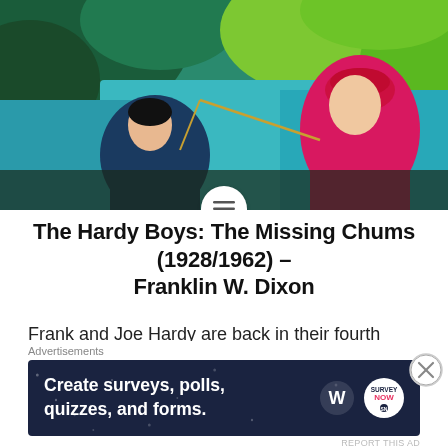[Figure (illustration): Book cover illustration showing two boys in an adventure scene — one wearing a red cap — with green and teal background foliage. A circular icon with menu/list lines is overlaid at the bottom center of the image.]
The Hardy Boys: The Missing Chums (1928/1962) – Franklin W. Dixon
Frank and Joe Hardy are back in their fourth adventure, The Missing Chums. This quick-paced, fast read book sees the brothers asked by the local Bayport P.D. to help investigate a local shantytown, while their father, Fenton, the renowned detective is called in to
[Figure (infographic): Advertisement banner with dark navy background reading 'Create surveys, polls, quizzes, and forms.' with WordPress and SurveyNow logos. 'Advertisements' label above and 'REPORT THIS AD' text below.]